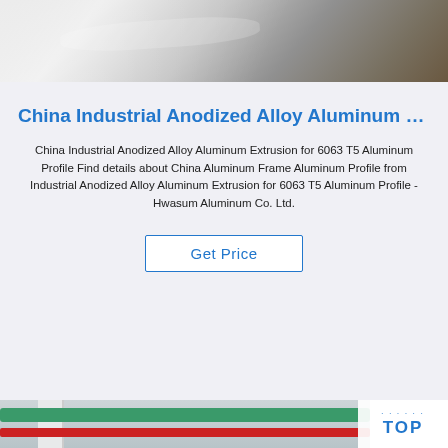[Figure (photo): Close-up photo of a shiny metallic aluminum surface, likely an anodized aluminum extrusion or sheet, with brushed metallic appearance.]
China Industrial Anodized Alloy Aluminum …
China Industrial Anodized Alloy Aluminum Extrusion for 6063 T5 Aluminum Profile Find details about China Aluminum Frame Aluminum Profile from Industrial Anodized Alloy Aluminum Extrusion for 6063 T5 Aluminum Profile - Hwasum Aluminum Co. Ltd.
Get Price
[Figure (photo): Industrial factory interior showing green and red colored pipes/tubes running horizontally, white structural columns, yellow metal staircase/railing, and a TOP supplier badge logo overlay on the right side.]